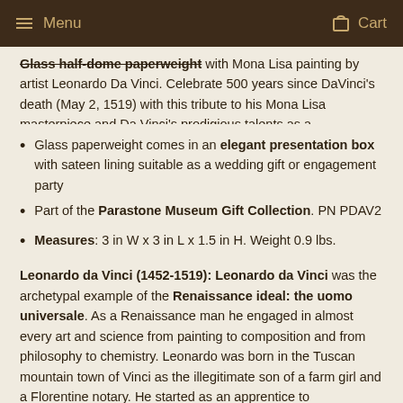Menu  Cart
Glass half-dome paperweight with Mona Lisa painting by artist Leonardo Da Vinci. Celebrate 500 years since DaVinci's death (May 2, 1519) with this tribute to his Mona Lisa masterpiece and Da Vinci's prodigious talents as a Renaissance artist.
Glass paperweight comes in an elegant presentation box with sateen lining suitable as a wedding gift or engagement party
Part of the Parastone Museum Gift Collection. PN PDAV2
Measures: 3 in W x 3 in L x 1.5 in H. Weight 0.9 lbs.
Leonardo da Vinci (1452-1519): Leonardo da Vinci was the archetypal example of the Renaissance ideal: the uomo universale. As a Renaissance man he engaged in almost every art and science from painting to composition and from philosophy to chemistry. Leonardo was born in the Tuscan mountain town of Vinci as the illegitimate son of a farm girl and a Florentine notary. He started as an apprentice to